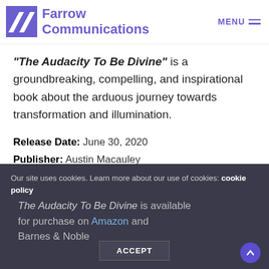Farrow Communications — MENU
“The Audacity To Be Divine” is a groundbreaking, compelling, and inspirational book about the arduous journey towards transformation and illumination.
Release Date: June 30, 2020
Publisher: Austin Macauley
ISBN-10: 1645363619
ISBN-13: 978-1645363613
Our site uses cookies. Learn more about our use of cookies: cookie policy The Audacity To Be Divine is available for purchase on Amazon and Barnes & Noble
ACCEPT